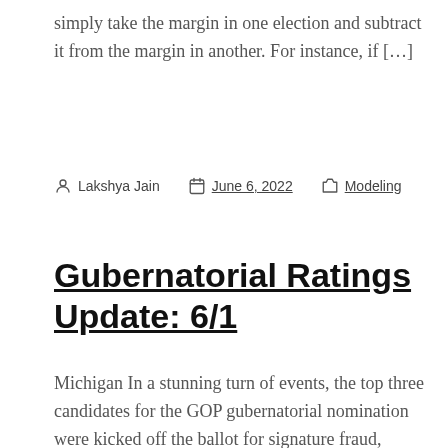simply take the margin in one election and subtract it from the margin in another. For instance, if […]
Lakshya Jain   June 6, 2022   Modeling
Gubernatorial Ratings Update: 6/1
Michigan In a stunning turn of events, the top three candidates for the GOP gubernatorial nomination were kicked off the ballot for signature fraud, leaving Republicans with a splintered field